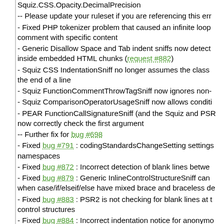Squiz.CSS.Opacity.DecimalPrecision
-- Please update your ruleset if you are referencing this err
- Fixed PHP tokenizer problem that caused an infinite loop comment with specific content
- Generic Disallow Space and Tab indent sniffs now detect inside embedded HTML chunks (request #882)
- Squiz CSS IndentationSniff no longer assumes the class the end of a line
- Squiz FunctionCommentThrowTagSniff now ignores non-
- Squiz ComparisonOperatorUsageSniff now allows conditi
- PEAR FunctionCallSignatureSniff (and the Squiz and PSR now correctly check the first argument
-- Further fix for bug #698
- Fixed bug #791 : codingStandardsChangeSetting settings namespaces
- Fixed bug #872 : Incorrect detection of blank lines betwe
- Fixed bug #879 : Generic InlineControlStructureSniff can when case/if/elseif/else have mixed brace and braceless de
- Fixed bug #883 : PSR2 is not checking for blank lines at t control structures
- Fixed bug #884 : Incorrect indentation notice for anonymo
- Fixed bug #887 : Using curly braces for a shared CASE/D can generate an error in PSR2 SwitchDeclaration
- Fixed bug #889 : Closure inside catch/else/elseif causes i
- Fixed bug #890 : Function call inside returned short array indentation error inside CASE statements
- Fixed bug #897 : Generic.Functions.CallTimePassByRefe false positive when short array syntax
- Fixed bug #900 : Squiz.Functions.FunctionDeclarationAr